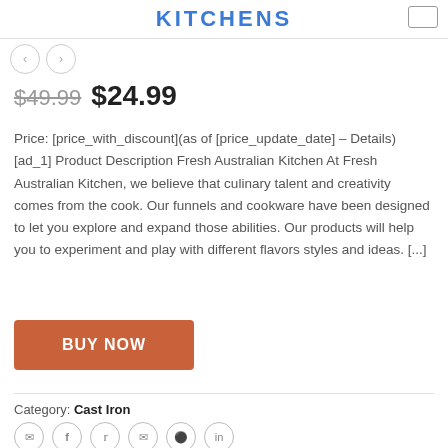KITCHENS
$49.99 $24.99
Price: [price_with_discount](as of [price_update_date] – Details) [ad_1] Product Description Fresh Australian Kitchen At Fresh Australian Kitchen, we believe that culinary talent and creativity comes from the cook. Our funnels and cookware have been designed to let you explore and expand those abilities. Our products will help you to experiment and play with different flavors styles and ideas. [...]
BUY NOW
Category: Cast Iron